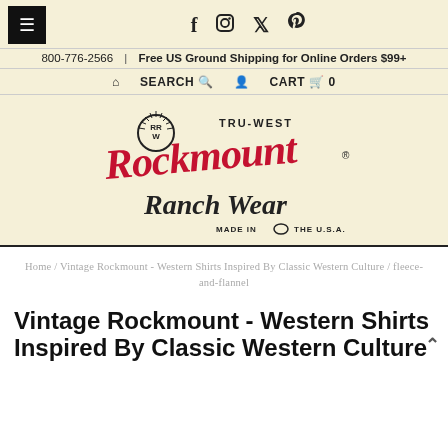≡  f  ⓘ  🐦  𝑝
800-776-2566  |  Free US Ground Shipping for Online Orders $99+
🏠  SEARCH 🔍  👤  CART 🛒 0
[Figure (logo): Rockmount Ranch Wear logo with TRU-WEST text, RRW emblem, script lettering in red and black, MADE IN THE U.S.A.]
Home / Vintage Rockmount - Western Shirts Inspired By Classic Western Culture / fleece-and-flannel
Vintage Rockmount - Western Shirts Inspired By Classic Western Culture